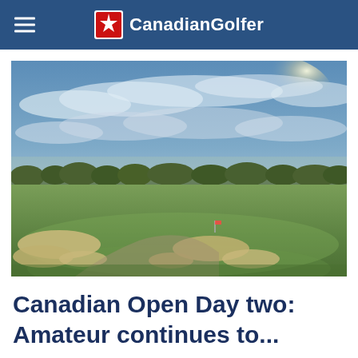CanadianGolfer
[Figure (photo): Wide-angle golf course photograph showing a links-style fairway with sand bunkers in the foreground, rolling green fairways, a treeline on the horizon, and a dramatic cloudy sky with wispy cirrus clouds and sun glare in the upper right.]
Canadian Open Day two: Amateur continues to...